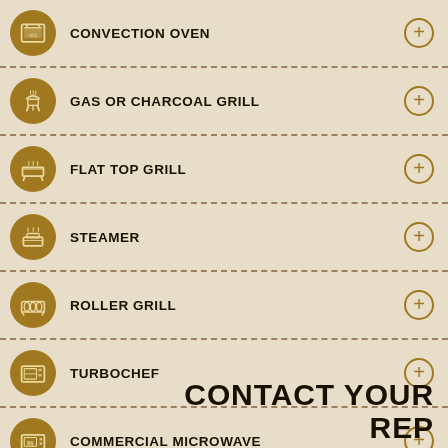CONVECTION OVEN
GAS OR CHARCOAL GRILL
FLAT TOP GRILL
STEAMER
ROLLER GRILL
TURBOCHEF
COMMERCIAL MICROWAVE
CONTACT YOUR REP